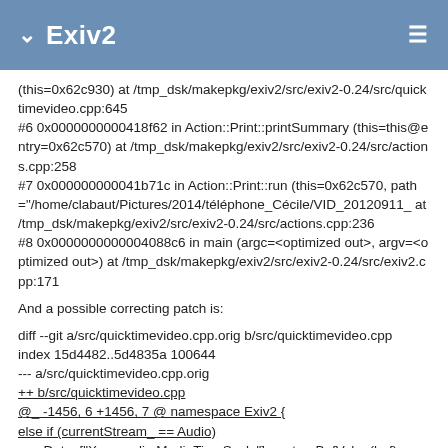Exiv2
(this=0x62c930) at /tmp_dsk/makepkg/exiv2/src/exiv2-0.24/src/quicktimevideo.cpp:645
#6 0x0000000000418f62 in Action::Print::printSummary (this=this@entry=0x62c570) at /tmp_dsk/makepkg/exiv2/src/exiv2-0.24/src/actions.cpp:258
#7 0x000000000041b71c in Action::Print::run (this=0x62c570, path="/home/clabaut/Pictures/2014/téléphone_Cécile/VID_20120911_ at /tmp_dsk/makepkg/exiv2/src/exiv2-0.24/src/actions.cpp:236
#8 0x0000000000004088c6 in main (argc=<optimized out>, argv=<optimized out>) at /tmp_dsk/makepkg/exiv2/src/exiv2-0.24/src/exiv2.cpp:171
And a possible correcting patch is:
diff --git a/src/quicktimevideo.cpp.orig b/src/quicktimevideo.cpp
index 15d4482..5d4835a 100644
--- a/src/quicktimevideo.cpp.orig
++ b/src/quicktimevideo.cpp
@_ -1456, 6  +1456, 7  @ namespace Exiv2 {
else if (currentStream_  == Audio)
xmpData_["Xmp.audio.MediaTimeScale"] = returnBufValue(buf);
time_scale = returnBufValue(buf);
if (time_scale == 0) {time_scale = 1;}
break;
   MediaDurati...